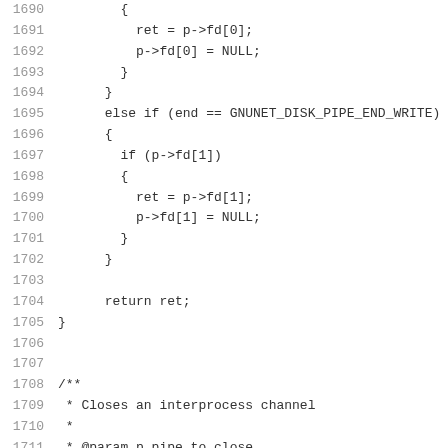[Figure (other): Source code listing in C, lines 1690-1719, showing pipe file descriptor handling and the beginning of GNUNET_DISK_pipe_close function with a Doxygen comment block.]